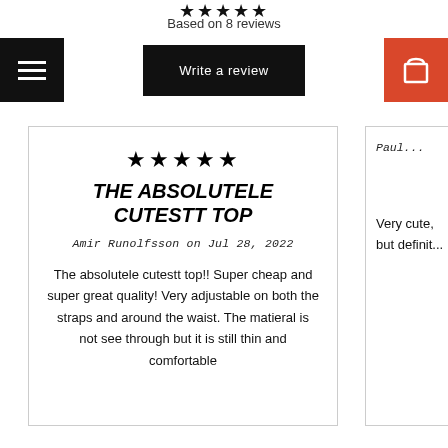★★★★★
Based on 8 reviews
[Figure (screenshot): Navigation bar with hamburger menu button (black), Write a review button (black), and shopping cart button (orange-red)]
★★★★★
THE ABSOLUTELE CUTESTT TOP
Amir Runolfsson on Jul 28, 2022
The absolutele cutestt top!! Super cheap and super great quality! Very adjustable on both the straps and around the waist. The matieral is not see through but it is still thin and comfortable
Paul... Very cute, but definit...